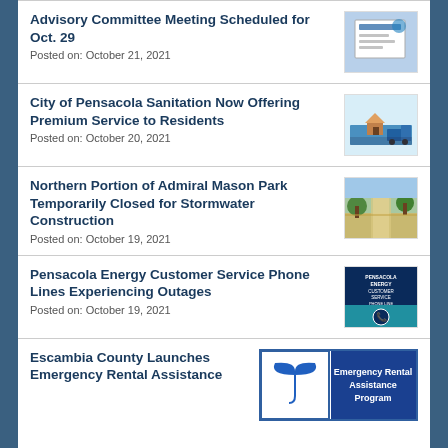Advisory Committee Meeting Scheduled for Oct. 29
Posted on: October 21, 2021
[Figure (photo): Advisory committee meeting thumbnail image]
City of Pensacola Sanitation Now Offering Premium Service to Residents
Posted on: October 20, 2021
[Figure (illustration): Sanitation service illustration with house and truck]
Northern Portion of Admiral Mason Park Temporarily Closed for Stormwater Construction
Posted on: October 19, 2021
[Figure (photo): Admiral Mason Park pathway photo]
Pensacola Energy Customer Service Phone Lines Experiencing Outages
Posted on: October 19, 2021
[Figure (infographic): Pensacola Energy Customer Service Phone Line Issues graphic]
Escambia County Launches Emergency Rental Assistance
[Figure (infographic): Emergency Rental Assistance Program graphic with umbrella logo]